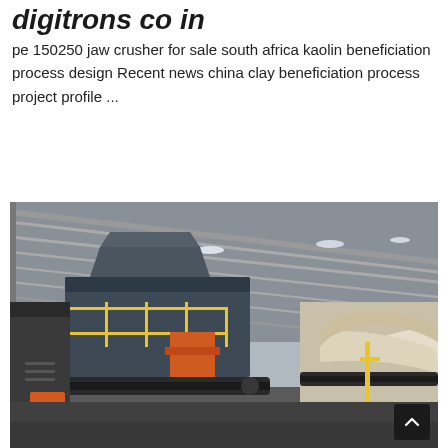digitrons co in
pe 150250 jaw crusher for sale south africa kaolin beneficiation process design Recent news china clay beneficiation process project profile ...
[Figure (photo): Interior of an industrial facility showing large jaw crusher machinery with yellow railings and conveyor belts, under a metal roof with fluorescent lighting.]